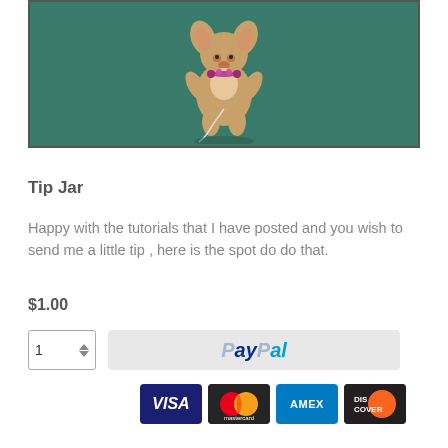[Figure (photo): A small chihuahua figurine/sculpture posed upright on a teal/green background, wearing a small floral necklace, with a wire or string prop]
Tip Jar
Happy with the tutorials that I have posted and you wish to send me a little tip , here is the spot do do that.
$1.00
[Figure (other): Quantity selector showing '1' with up/down arrows, followed by a PayPal checkout button]
[Figure (other): Payment card logos: VISA, Mastercard, AMEX, DISCOVER]